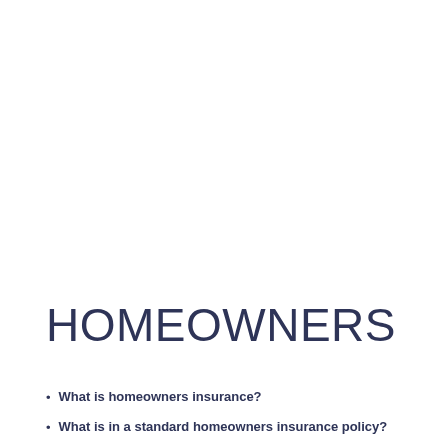HOMEOWNERS
What is homeowners insurance?
What is in a standard homeowners insurance policy?